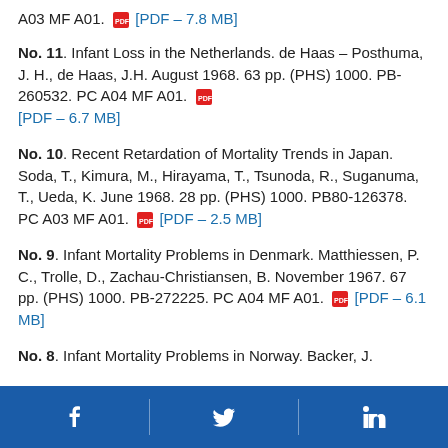A03 MF A01. [PDF – 7.8 MB]
No. 11. Infant Loss in the Netherlands. de Haas – Posthuma, J. H., de Haas, J.H. August 1968. 63 pp. (PHS) 1000. PB-260532. PC A04 MF A01. [PDF – 6.7 MB]
No. 10. Recent Retardation of Mortality Trends in Japan. Soda, T., Kimura, M., Hirayama, T., Tsunoda, R., Suganuma, T., Ueda, K. June 1968. 28 pp. (PHS) 1000. PB80-126378. PC A03 MF A01. [PDF – 2.5 MB]
No. 9. Infant Mortality Problems in Denmark. Matthiessen, P. C., Trolle, D., Zachau-Christiansen, B. November 1967. 67 pp. (PHS) 1000. PB-272225. PC A04 MF A01. [PDF – 6.1 MB]
No. 8. Infant Mortality Problems in Norway. Backer, J.